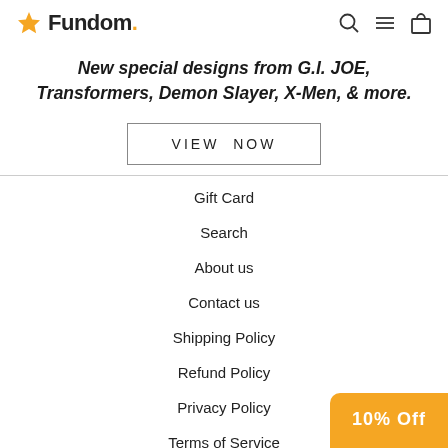Fundom
New special designs from G.I. JOE, Transformers, Demon Slayer, X-Men, & more.
VIEW NOW
Gift Card
Search
About us
Contact us
Shipping Policy
Refund Policy
Privacy Policy
Terms of Service
10% Off